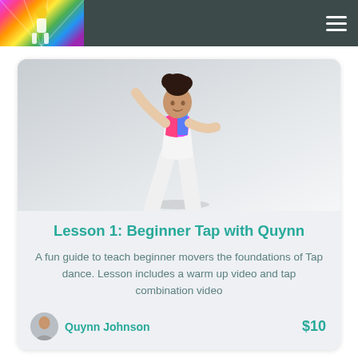[Figure (photo): Dancer girl in colorful top and white pants posing on a light gray background]
Lesson 1: Beginner Tap with Quynn
A fun guide to teach beginner movers the foundations of Tap dance. Lesson includes a warm up video and tap combination video
Quynn Johnson    $10